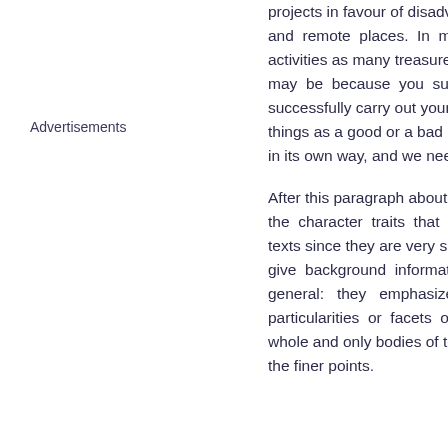projects in favour of disadvantaged and remote places. In many activities as many treasures as may be because you sub successfully carry out your tasks things as a good or a bad ho in its own way, and we need a
After this paragraph about do the character traits that you texts since they are very spe give background information general: they emphasize particularities or facets of a whole and only bodies of tex the finer points.
Advertisements